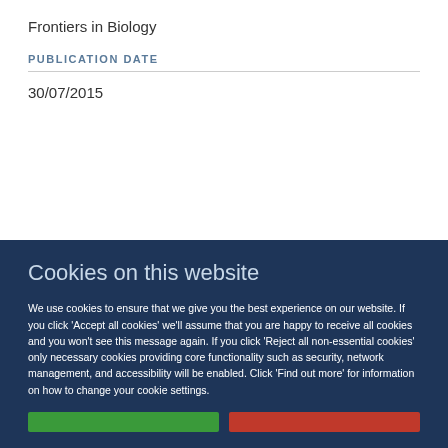Frontiers in Biology
PUBLICATION DATE
30/07/2015
Cookies on this website
We use cookies to ensure that we give you the best experience on our website. If you click 'Accept all cookies' we'll assume that you are happy to receive all cookies and you won't see this message again. If you click 'Reject all non-essential cookies' only necessary cookies providing core functionality such as security, network management, and accessibility will be enabled. Click 'Find out more' for information on how to change your cookie settings.